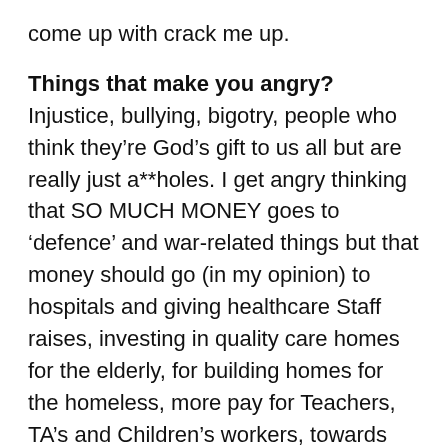come up with crack me up.
Things that make you angry? Injustice, bullying, bigotry, people who think they’re God’s gift to us all but are really just a**holes. I get angry thinking that SO MUCH MONEY goes to ‘defence’ and war-related things but that money should go (in my opinion) to hospitals and giving healthcare Staff raises, investing in quality care homes for the elderly, for building homes for the homeless, more pay for Teachers, TA’s and Children’s workers, towards sustainability so we leave the earth in a better place for future generations...I’m getting riled up now. Ask me something else. Quick.